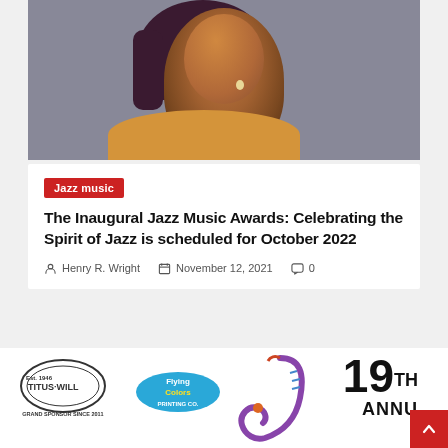[Figure (photo): Headshot of a woman in a yellow outfit with dark reddish-brown hair against a gray background]
Jazz music
The Inaugural Jazz Music Awards: Celebrating the Spirit of Jazz is scheduled for October 2022
Henry R. Wright   November 12, 2021   0
[Figure (logo): Titus-Will logo with text GRAND SPONSOR SINCE 2011]
[Figure (logo): Flying Colors Printing Co logo]
[Figure (illustration): Colorful saxophone illustration]
19TH ANNU